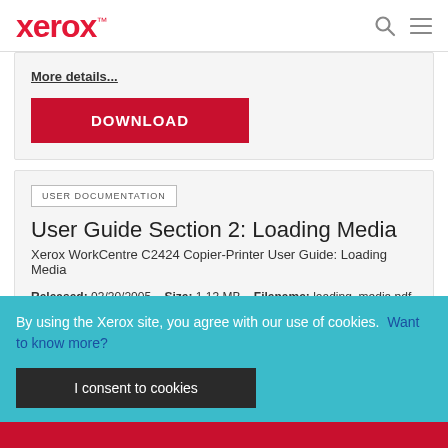xerox™
More details...
DOWNLOAD
USER DOCUMENTATION
User Guide Section 2: Loading Media
Xerox WorkCentre C2424 Copier-Printer User Guide: Loading Media
Released: 03/30/2005   Size: 1.13 MB   Filename: loading_media.pdf
Tags: User Guides
By using the Xerox site, you agree with our use of cookies.  Want to know more?
I consent to cookies